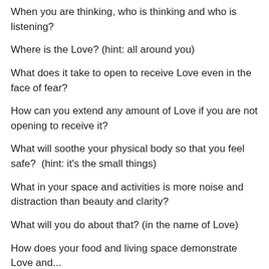When you are thinking, who is thinking and who is listening?
Where is the Love? (hint: all around you)
What does it take to open to receive Love even in the face of fear?
How can you extend any amount of Love if you are not opening to receive it?
What will soothe your physical body so that you feel safe?  (hint: it's the small things)
What in your space and activities is more noise and distraction than beauty and clarity?
What will you do about that? (in the name of Love)
How does your food and living space demonstrate Love and...